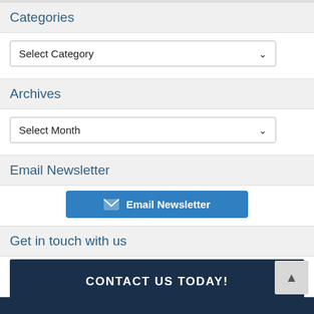Categories
Select Category
Archives
Select Month
Email Newsletter
Email Newsletter
Get in touch with us
CONTACT US TODAY!